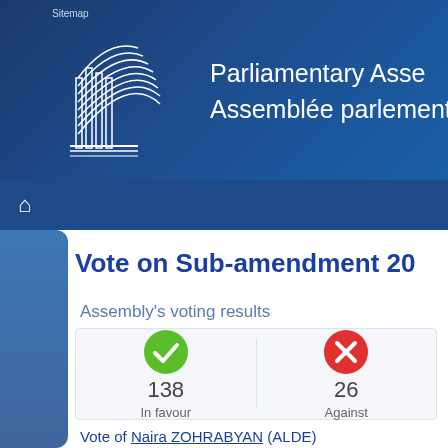Sitemap
[Figure (logo): Council of Europe / Parliamentary Assembly logo with stylized building and curved lines in white on blue background]
Parliamentary Assembly
Assemblée parlementaire
Vote on Sub-amendment 20
Assembly's voting results
| In favour | Against |
| --- | --- |
| 138 | 26 |
Vote of Naira ZOHRABYAN (ALDE)